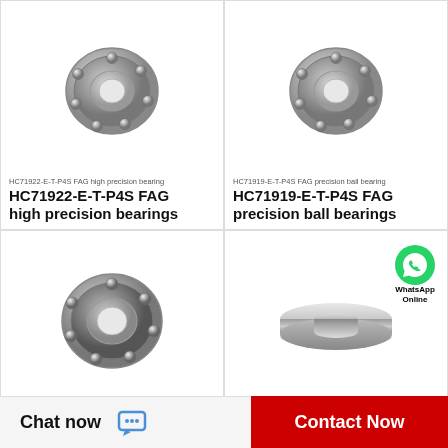[Figure (photo): FAG high precision bearing HC71922-E-T-P4S, metallic ball bearing, top-left cell]
HC71922-E-T-P4S FAG high precision bearing
HC71922-E-T-P4S FAG high precision bearings
[Figure (photo): FAG precision ball bearing HC71919-E-T-P4S, metallic ball bearing, top-right cell]
HC71919-E-T-P4S FAG precision ball bearing
HC71919-E-T-P4S FAG precision ball bearings
[Figure (photo): FAG high precision bearing HC71916-E-T-P4S, metallic ball bearing, bottom-left cell]
HC71916-E-T-P4S FAG high precision bearing
HC71916-E-T-P4S FAG high precision bearings
[Figure (photo): FAG precision ball bearing HC71921-E-T-P4S with WhatsApp Online watermark, bottom-right cell]
HC71921-E-T-P4S FAG precision ball bearing
HC71921-E-T-P4S FAG precision ball bearings
Chat now
Contact Now